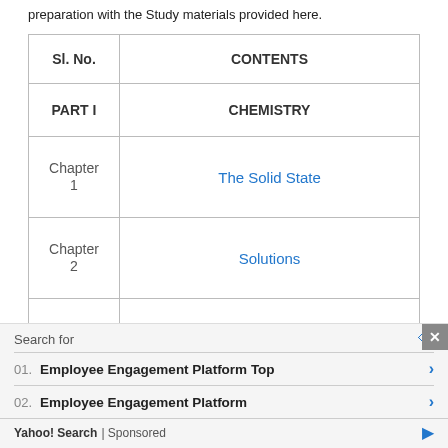preparation with the Study materials provided here.
| Sl. No. | CONTENTS |
| --- | --- |
| PART I | CHEMISTRY |
| Chapter
1 | The Solid State |
| Chapter
2 | Solutions |
| Chapter
3 | Electrochemistry |
Search for
01. Employee Engagement Platform Top
02. Employee Engagement Platform
Yahoo! Search | Sponsored